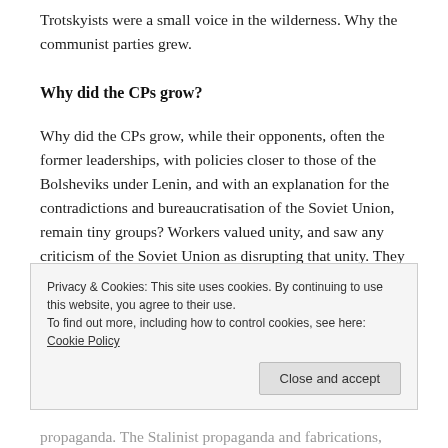Trotskyists were a small voice in the wilderness. Why the communist parties grew.
Why did the CPs grow?
Why did the CPs grow, while their opponents, often the former leaderships, with policies closer to those of the Bolsheviks under Lenin, and with an explanation for the contradictions and bureaucratisation of the Soviet Union, remain tiny groups? Workers valued unity, and saw any criticism of the Soviet Union as disrupting that unity. They still believed in the Stalinist leadership.
Privacy & Cookies: This site uses cookies. By continuing to use this website, you agree to their use.
To find out more, including how to control cookies, see here: Cookie Policy
propaganda. The Stalinist propaganda and fabrications,